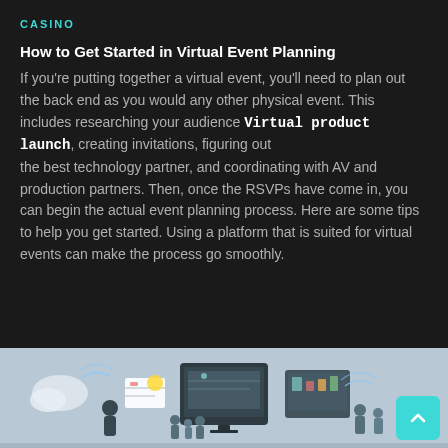CASINO
How to Get Started in Virtual Event Planning
If you're putting together a virtual event, you'll need to plan out the back end as you would any other physical event. This includes researching your audience Virtual product launch, creating invitations, figuring out the best technology partner, and coordinating with AV and production partners. Then, once the RSVPs have come in, you can begin the actual event planning process. Here are some tips to help you get started. Using a platform that is suited for virtual events can make the process go smoothly.
[Figure (illustration): Illustration of virtual event planning showing people presenting on screens, a large monitor display, and people gathered around in a digital/virtual environment with a light blue-grey background.]